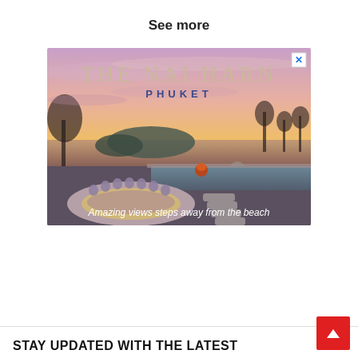See more
[Figure (photo): Advertisement for The Nai Harn Phuket resort showing a sunset poolside view with the ocean and islands in the background. Text overlay reads 'THE NAI HARN PHUKET' and 'Amazing views steps away from the beach'.]
STAY UPDATED WITH THE LATEST